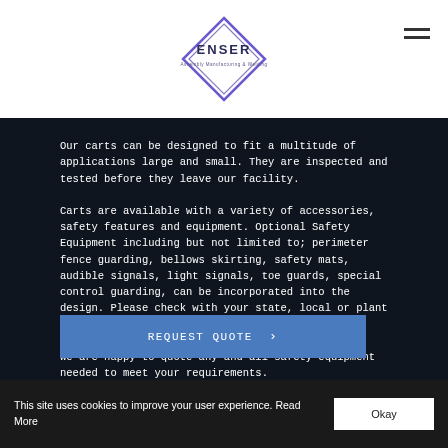[Figure (logo): ENSER logo — diamond/rhombus shape with text 'ENSER' and tagline inside]
Our carts can be designed to fit a multitude of applications large and small. They are inspected and tested before they leave our facility.
Carts are available with a variety of accessories, safety features and equipment. Optional Safety Equipment including but not limited to; perimeter fence guarding, bellows skirting, safety mats, audible signals, light signals, toe guards, special control guarding, can be incorporated into the design. Please check with your state, local or plant safety for requirements.
We are happy to quote any and all safety equipment needed to meet your requirements.
REQUEST QUOTE ›
This site uses cookies to improve your user experience. Read More